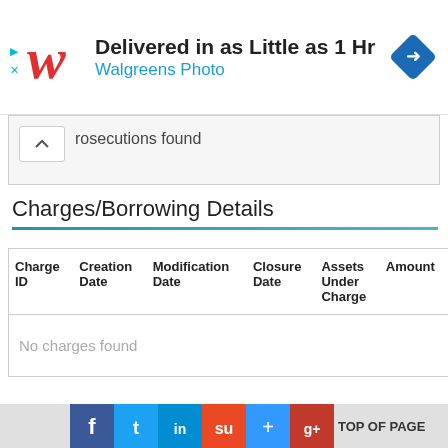[Figure (other): Walgreens Photo advertisement banner: 'Delivered in as Little as 1 Hr' with Walgreens logo and navigation icon]
prosecutions found
Charges/Borrowing Details
| Charge ID | Creation Date | Modification Date | Closure Date | Assets Under Charge | Amount |
| --- | --- | --- | --- | --- | --- |
| No charges found |  |  |  |  |  |
Establishments Details
TOP OF PAGE